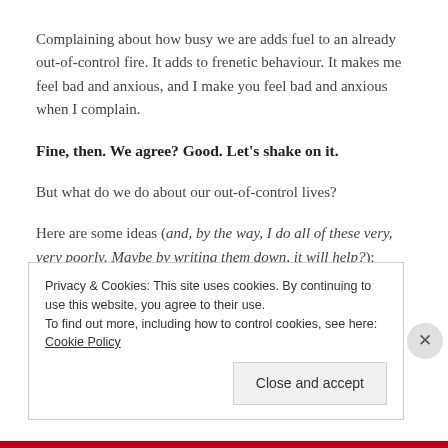Complaining about how busy we are adds fuel to an already out-of-control fire. It adds to frenetic behaviour. It makes me feel bad and anxious, and I make you feel bad and anxious when I complain.
Fine, then. We agree? Good. Let's shake on it.
But what do we do about our out-of-control lives?
Here are some ideas (and, by the way, I do all of these very, very poorly. Maybe by writing them down, it will help?):
Privacy & Cookies: This site uses cookies. By continuing to use this website, you agree to their use. To find out more, including how to control cookies, see here: Cookie Policy